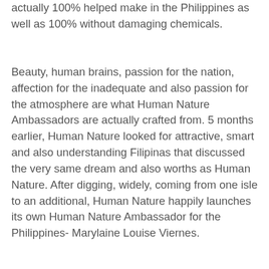actually 100% helped make in the Philippines as well as 100% without damaging chemicals.
Beauty, human brains, passion for the nation, affection for the inadequate and also passion for the atmosphere are what Human Nature Ambassadors are actually crafted from. 5 months earlier, Human Nature looked for attractive, smart and also understanding Filipinas that discussed the very same dream and also worths as Human Nature. After digging, widely, coming from one isle to an additional, Human Nature happily launches its own Human Nature Ambassador for the Philippines- Marylaine Louise Viernes.
Together along with the 10 (10) various other Human Nature Area Ambassadors, Ms. Viernes are going to aid advertise the Human Nature concepts of being actually Pro-Philippines, Pro-Poor as well as Pro-Environment and also work as a shining example for today's creation of Filipinos. As